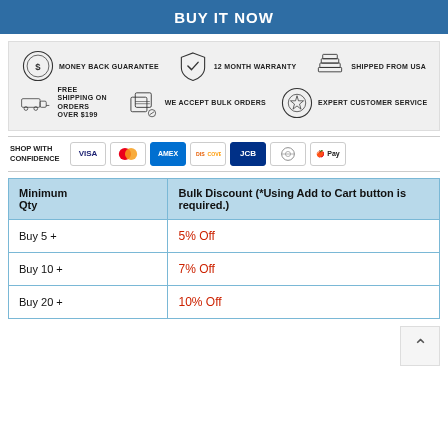BUY IT NOW
[Figure (infographic): Trust badges: Money Back Guarantee, 12 Month Warranty, Shipped From USA, Free Shipping On Orders Over $199, We Accept Bulk Orders, Expert Customer Service]
SHOP WITH CONFIDENCE — VISA, Mastercard, AMEX, Discover, JCB, Diners Club, Apple Pay
| Minimum Qty | Bulk Discount (*Using Add to Cart button is required.) |
| --- | --- |
| Buy 5 + | 5% Off |
| Buy 10 + | 7% Off |
| Buy 20 + | 10% Off |